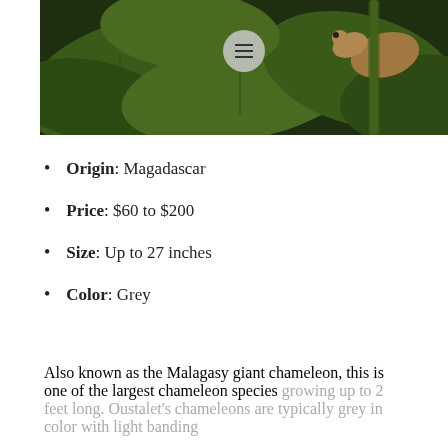[Figure (photo): Close-up photo of a chameleon on green plant leaves, with a circular hamburger menu button overlay in the center]
Origin: Magadascar
Price: $60 to $200
Size: Up to 27 inches
Color: Grey
Also known as the Malagasy giant chameleon, this is one of the largest chameleon species growing up to 2 feet long. Oustalet's chameleons are typically grey in color with light banding